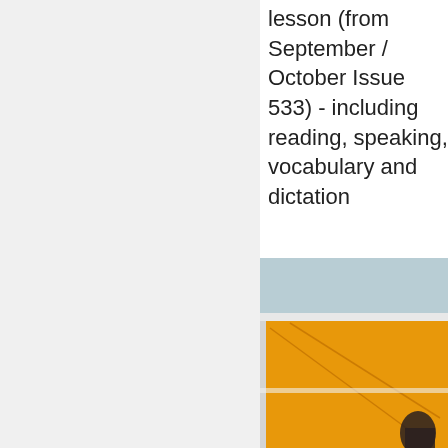lesson (from September / October Issue 533) - including reading, speaking, vocabulary and dictation
[Figure (photo): Partial view of a classroom with an orange/yellow wall and white ceiling. Diagonal lines or cables visible on the wall. A person is partially visible in the lower right corner.]